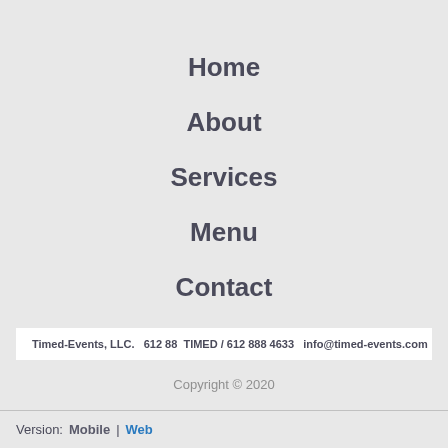Home
About
Services
Menu
Contact
Timed-Events, LLC.   612 88  TIMED / 612 888 4633   info@timed-events.com
Copyright © 2020
Version:  Mobile  |  Web